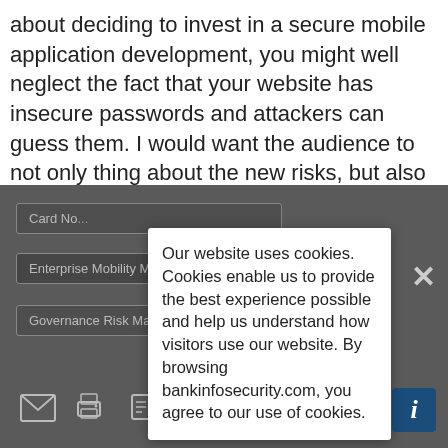about deciding to invest in a secure mobile application development, you might well neglect the fact that your website has insecure passwords and attackers can guess them. I would want the audience to not only thing about the new risks, but also to be really cognizant of the fact that very few old risks have gone away.
[Figure (screenshot): Dark grey UI overlay showing a list of card items (Card No..., Enterprise Mobility Management / BYOD, Governance Risk Management) with icon bar at bottom, and a cookie consent popup overlay with close button.]
Our website uses cookies. Cookies enable us to provide the best experience possible and help us understand how visitors use our website. By browsing bankinfosecurity.com, you agree to our use of cookies.